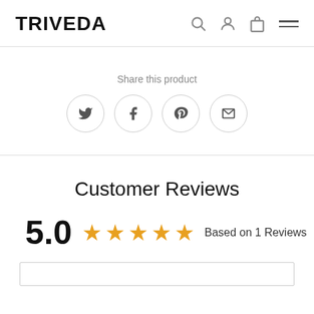TRIVEDA
Share this product
[Figure (infographic): Four social sharing icon circles: Twitter (bird), Facebook (f), Pinterest (p), and a message/email icon]
Customer Reviews
5.0  ★★★★★  Based on 1 Reviews